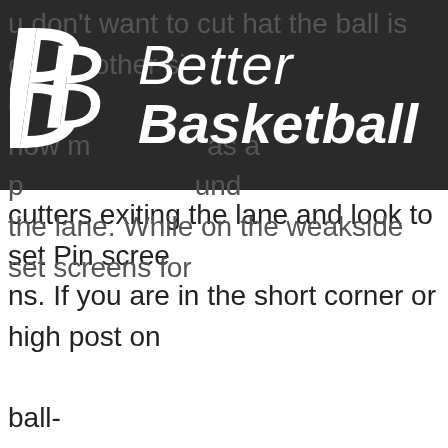[Figure (logo): Better Basketball logo — two stylized white B letters on dark background with italic 'Better' and bold italic 'Basketball' text in white]
u don't want to cut at the ball is on the other si de. how move as a post player around the lane. While on the weakside set screens for cutters exiting the lane and look to set Pin screens. If you are in the short corner or high post on ball- side, only flash to the mid post off the tail of a cu tter. If you are in the mid-post on ballside, you are going to receive the ball (layer 2) or screen f or cutters. Once you have established the post principle, "Real Estate" will open up many more scoring opportunities t han without the principle. The principle also allows you to teach